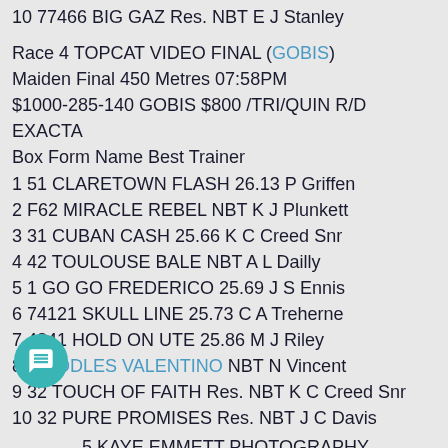10 77466 BIG GAZ Res. NBT E J Stanley
Race 4 TOPCAT VIDEO FINAL (GOBIS)
Maiden Final 450 Metres 07:58PM
$1000-285-140 GOBIS $800 /TRI/QUIN R/D EXACTA
Box Form Name Best Trainer
1 51 CLARETOWN FLASH 26.13 P Griffen
2 F62 MIRACLE REBEL NBT K J Plunkett
3 31 CUBAN CASH 25.66 K C Creed Snr
4 42 TOULOUSE BALE NBT A L Dailly
5 1 GO GO FREDERICO 25.69 J S Ennis
6 74121 SKULL LINE 25.73 C A Treherne
7 4841 HOLD ON UTE 25.86 M J Riley
8 2 OODLES VALENTINO NBT N Vincent
9 32 TOUCH OF FAITH Res. NBT K C Creed Snr
10 32 PURE PROMISES Res. NBT J C Davis
Race 5 KAYE EMMETT PHOTOGRAPHY
Mixed 4/5 550 Metres 08:19PM